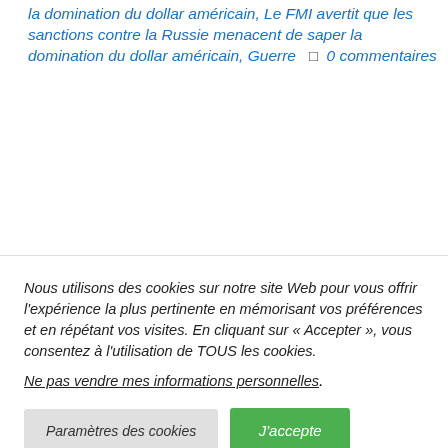la domination du dollar américain, Le FMI avertit que les sanctions contre la Russie menacent de saper la domination du dollar américain, Guerre □ 0 commentaires
Nous utilisons des cookies sur notre site Web pour vous offrir l'expérience la plus pertinente en mémorisant vos préférences et en répétant vos visites. En cliquant sur « Accepter », vous consentez à l'utilisation de TOUS les cookies.
Ne pas vendre mes informations personnelles.
Paramètres des cookies
J'accepte